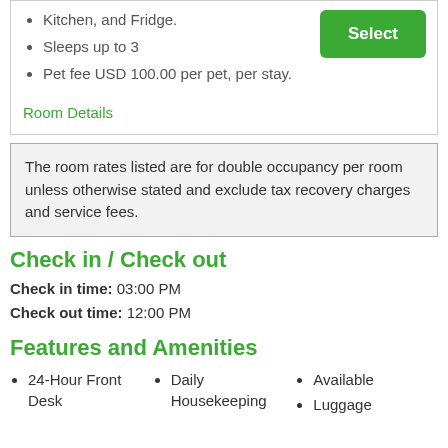Kitchen, and Fridge.
Sleeps up to 3
Pet fee USD 100.00 per pet, per stay.
Room Details
The room rates listed are for double occupancy per room unless otherwise stated and exclude tax recovery charges and service fees.
Check in / Check out
Check in time: 03:00 PM
Check out time: 12:00 PM
Features and Amenities
24-Hour Front Desk
Daily Housekeeping
Available
Luggage